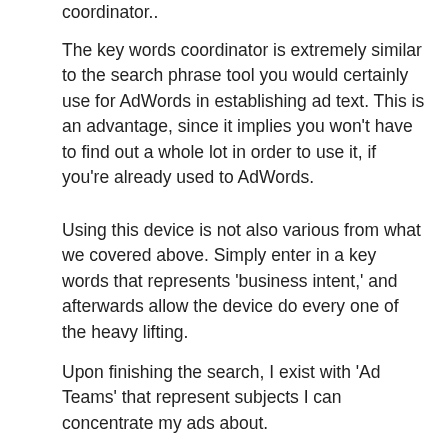coordinator..
The key words coordinator is extremely similar to the search phrase tool you would certainly use for AdWords in establishing ad text. This is an advantage, since it implies you won't have to find out a whole lot in order to use it, if you're already used to AdWords.
Using this device is not also various from what we covered above. Simply enter in a key words that represents 'business intent,' and afterwards allow the device do every one of the heavy lifting.
Upon finishing the search, I exist with 'Ad Teams' that represent subjects I can concentrate my ads about.